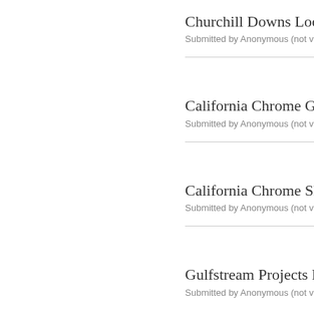Churchill Downs Looki
Submitted by Anonymous (not verifie
California Chrome Gall
Submitted by Anonymous (not verifie
California Chrome Shift
Submitted by Anonymous (not verifie
Gulfstream Projects Rec
Submitted by Anonymous (not verifie